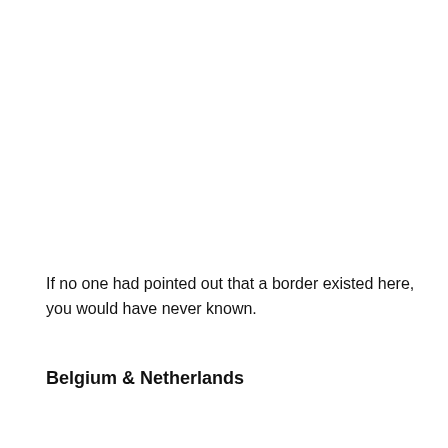If no one had pointed out that a border existed here, you would have never known.
Belgium & Netherlands